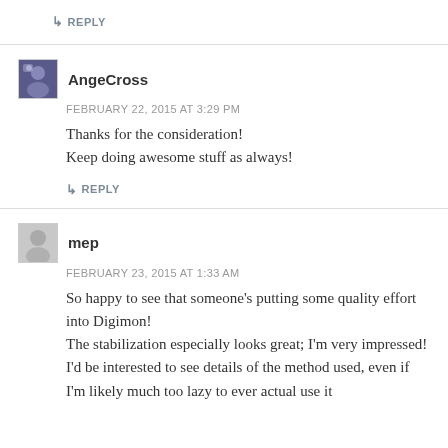↳ REPLY
AngeCross
FEBRUARY 22, 2015 AT 3:29 PM
Thanks for the consideration!
Keep doing awesome stuff as always!
↳ REPLY
mep
FEBRUARY 23, 2015 AT 1:33 AM
So happy to see that someone's putting some quality effort into Digimon!
The stabilization especially looks great; I'm very impressed! I'd be interested to see details of the method used, even if I'm likely much too lazy to ever actual use it